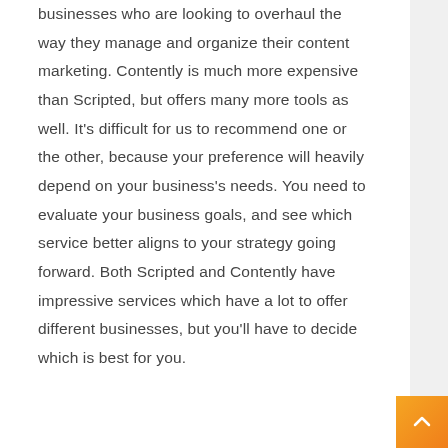businesses who are looking to overhaul the way they manage and organize their content marketing. Contently is much more expensive than Scripted, but offers many more tools as well. It’s difficult for us to recommend one or the other, because your preference will heavily depend on your business’s needs. You need to evaluate your business goals, and see which service better aligns to your strategy going forward. Both Scripted and Contently have impressive services which have a lot to offer different businesses, but you’ll have to decide which is best for you.